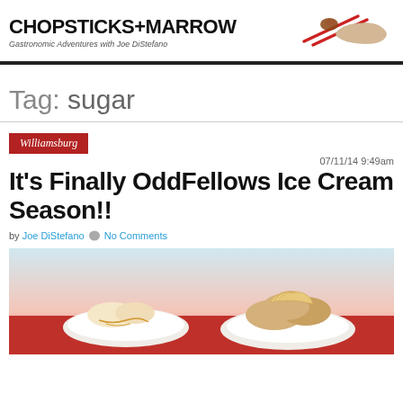CHOPSTICKS+MARROW — Gastronomic Adventures with Joe DiStefano
Tag: sugar
Williamsburg
07/11/14 9:49am
It's Finally OddFellows Ice Cream Season!!
by Joe DiStefano   No Comments
[Figure (photo): Photo of ice cream bowls — two white bowls with scoops of ice cream and toppings on a red background]